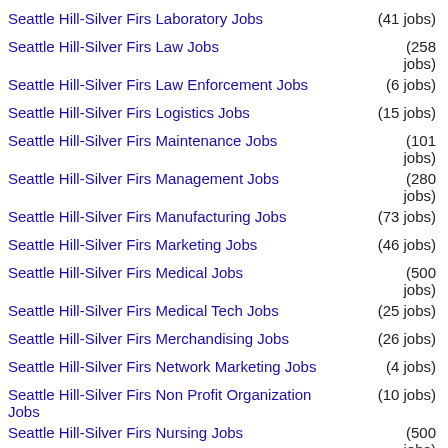Seattle Hill-Silver Firs Laboratory Jobs (41 jobs)
Seattle Hill-Silver Firs Law Jobs (258 jobs)
Seattle Hill-Silver Firs Law Enforcement Jobs (6 jobs)
Seattle Hill-Silver Firs Logistics Jobs (15 jobs)
Seattle Hill-Silver Firs Maintenance Jobs (101 jobs)
Seattle Hill-Silver Firs Management Jobs (280 jobs)
Seattle Hill-Silver Firs Manufacturing Jobs (73 jobs)
Seattle Hill-Silver Firs Marketing Jobs (46 jobs)
Seattle Hill-Silver Firs Medical Jobs (500 jobs)
Seattle Hill-Silver Firs Medical Tech Jobs (25 jobs)
Seattle Hill-Silver Firs Merchandising Jobs (26 jobs)
Seattle Hill-Silver Firs Network Marketing Jobs (4 jobs)
Seattle Hill-Silver Firs Non Profit Organization Jobs (10 jobs)
Seattle Hill-Silver Firs Nursing Jobs (500 jobs)
(197